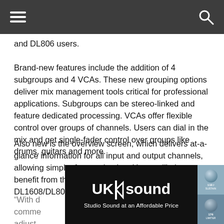and DL806 users.
Brand-new features include the addition of 4 subgroups and 4 VCAs. These new grouping options deliver mix management tools critical for professional applications. Subgroups can be stereo-linked and feature dedicated processing. VCAs offer flexible control over groups of channels. Users can dial in the mix and get single-fader control over groups like drums, guitars and more.
Also new is the overview screen, which delivers at-a-glance information for all input and output channels, allowing simple, fast navigation. Users will also benefit from the addition of digital trim to each DL1608/DL806 input.
“With d…ore,” comme… park and adjust… you to mix fro…
[Figure (logo): UKsound advertisement banner with text 'UK sound' in large white bold font and subtitle 'Studio Sound at an Affordable Price' on black background, with images of audio equipment on the right side]